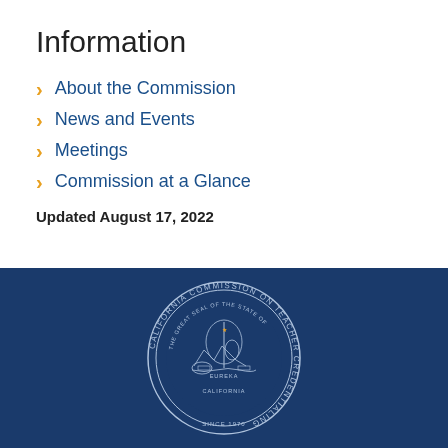Information
About the Commission
News and Events
Meetings
Commission at a Glance
Updated August 17, 2022
[Figure (logo): California Commission on Teacher Credentialing seal — circular seal with state of California emblem, blue and white on dark blue background, text reading CALIFORNIA COMMISSION ON TEACHER CREDENTIALING and SINCE 1970]